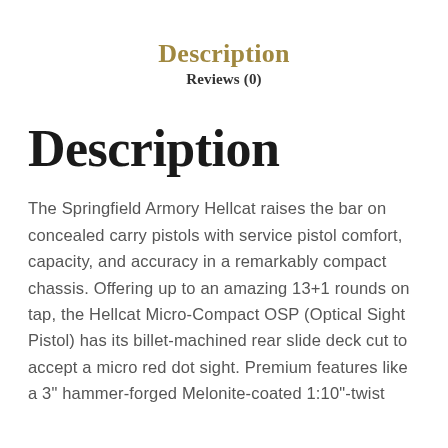Description  Reviews (0)
Description
The Springfield Armory Hellcat raises the bar on concealed carry pistols with service pistol comfort, capacity, and accuracy in a remarkably compact chassis. Offering up to an amazing 13+1 rounds on tap, the Hellcat Micro-Compact OSP (Optical Sight Pistol) has its billet-machined rear slide deck cut to accept a micro red dot sight. Premium features like a 3" hammer-forged Melonite-coated 1:10"-twist